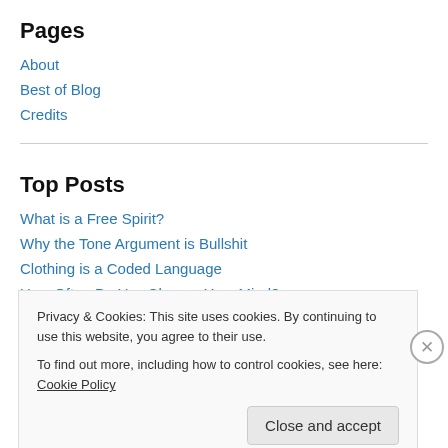Pages
About
Best of Blog
Credits
Top Posts
What is a Free Spirit?
Why the Tone Argument is Bullshit
Clothing is a Coded Language
How Often Do You Change Your Mind?
Hungry for Books
Privacy & Cookies: This site uses cookies. By continuing to use this website, you agree to their use.
To find out more, including how to control cookies, see here: Cookie Policy
Close and accept